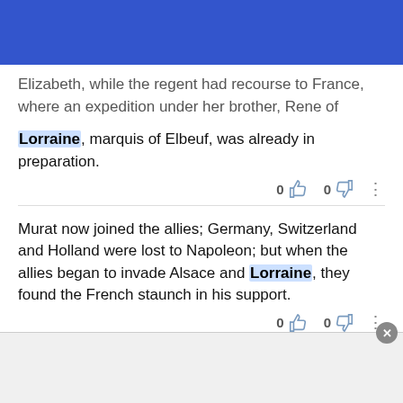[Figure (screenshot): Blue search bar with search field containing 'lorraine' and a magnifying glass icon]
Elizabeth, while the regent had recourse to France, where an expedition under her brother, Rene of Lorraine, marquis of Elbeuf, was already in preparation.
Murat now joined the allies; Germany, Switzerland and Holland were lost to Napoleon; but when the allies began to invade Alsace and Lorraine, they found the French staunch in his support.
His work was checked by the active hostility of the